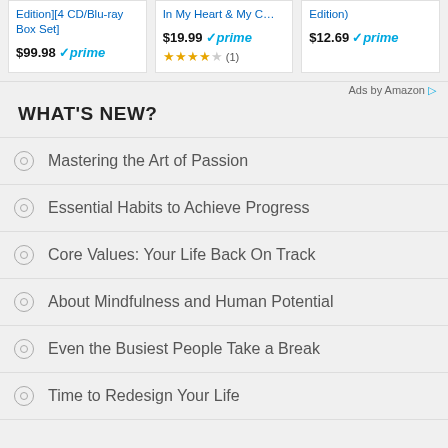[Figure (screenshot): Amazon ads bar showing three products: Edition][4 CD/Blu-ray Box Set] $99.98 prime, In My Heart & My C... $19.99 prime with 3.5 stars (1) rating, Edition) $12.69 prime]
Ads by Amazon ▷
WHAT'S NEW?
Mastering the Art of Passion
Essential Habits to Achieve Progress
Core Values: Your Life Back On Track
About Mindfulness and Human Potential
Even the Busiest People Take a Break
Time to Redesign Your Life